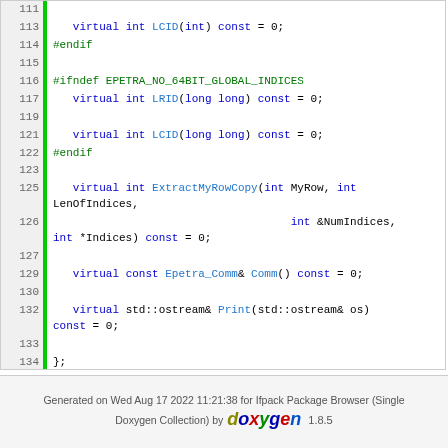[Figure (screenshot): Source code listing showing lines 111-141 of a C++ header file (Ifpack_Graph.h) with syntax highlighting. Contains virtual function declarations for LCID, LRID, ExtractMyRowCopy, Comm, Print, and an inline operator<< function.]
Generated on Wed Aug 17 2022 11:21:38 for Ifpack Package Browser (Single Doxygen Collection) by doxygen 1.8.5